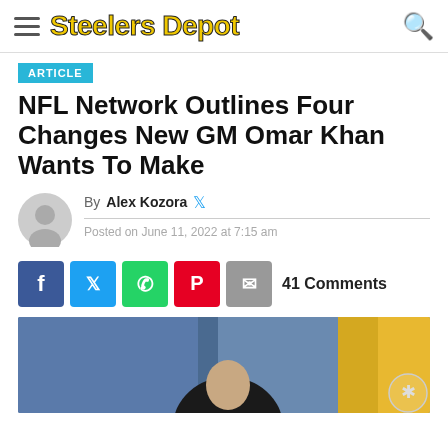Steelers Depot
ARTICLE
NFL Network Outlines Four Changes New GM Omar Khan Wants To Make
By Alex Kozora
Posted on June 11, 2022 at 7:15 am
41 Comments
[Figure (photo): Photo of Omar Khan, partially visible, with blue and yellow/gold background]